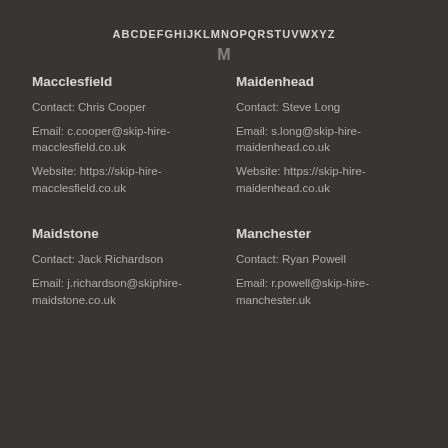ABCDEFGHIJKLMNOPQRSTUVWXYZ
M
Macclesfield
Contact: Chris Cooper
Email: c.cooper@skip-hire-macclesfield.co.uk
Website: https://skip-hire-macclesfield.co.uk
Maidenhead
Contact: Steve Long
Email: s.long@skip-hire-maidenhead.co.uk
Website: https://skip-hire-maidenhead.co.uk
Maidstone
Contact: Jack Richardson
Email: j.richardson@skiphire-maidstone.co.uk
Manchester
Contact: Ryan Powell
Email: r.powell@skip-hire-manchester.uk